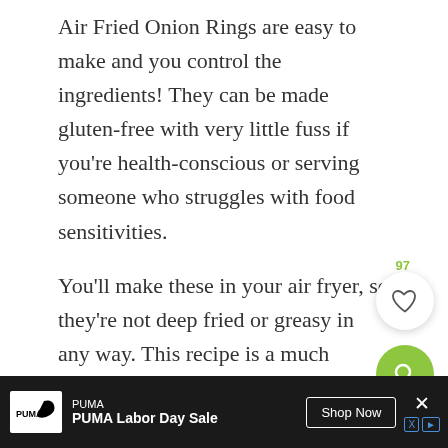Air Fried Onion Rings are easy to make and you control the ingredients!  They can be made gluten-free with very little fuss if you're health-conscious or serving someone who struggles with food sensitivities.
You'll make these in your air fryer, so they're not deep fried or greasy in any way.  This recipe is a much healthier option for enjoying this classic comfort food.
Normally you can't use a wet better in the air
[Figure (other): Heart/save button (white circle with heart icon) showing count 97, and green circle search/magnify button]
[Figure (other): PUMA Labor Day Sale advertisement banner at bottom of page with Shop Now button and close/X button]